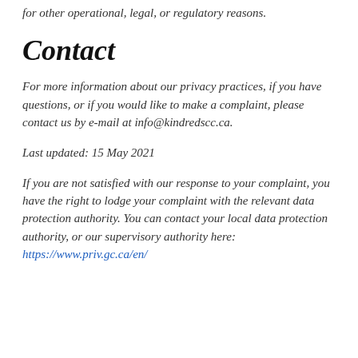for other operational, legal, or regulatory reasons.
Contact
For more information about our privacy practices, if you have questions, or if you would like to make a complaint, please contact us by e-mail at info@kindredscc.ca.
Last updated: 15 May 2021
If you are not satisfied with our response to your complaint, you have the right to lodge your complaint with the relevant data protection authority. You can contact your local data protection authority, or our supervisory authority here: https://www.priv.gc.ca/en/